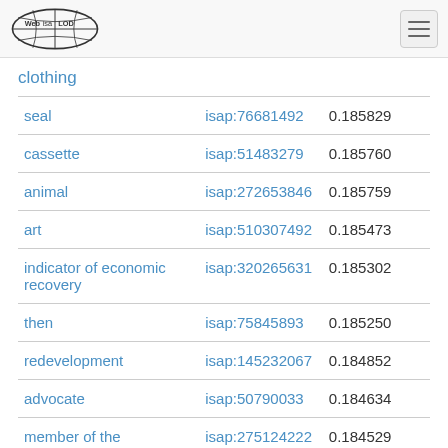Web isa LOD
clothing
| seal | isap:76681492 | 0.185829 |
| cassette | isap:51483279 | 0.185760 |
| animal | isap:272653846 | 0.185759 |
| art | isap:510307492 | 0.185473 |
| indicator of economic recovery | isap:320265631 | 0.185302 |
| then | isap:75845893 | 0.185250 |
| redevelopment | isap:145232067 | 0.184852 |
| advocate | isap:50790033 | 0.184634 |
| member of the | isap:275124222 | 0.184529 |